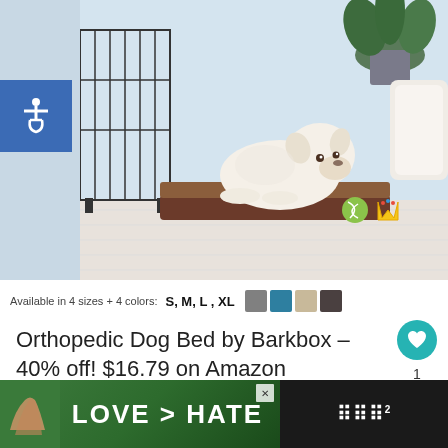[Figure (photo): A fluffy white Bichon Frise dog lying on a brown orthopedic dog bed with a green tennis ball and golden crown toy nearby. A dog crate is visible on the left side and a plant and white pillow are in the background.]
Available in 4 sizes + 4 colors: S, M, L, XL [color swatches: gray, teal/blue, tan, dark gray]
Orthopedic Dog Bed by Barkbox – 40% off! $16.79 on Amazon
[Figure (screenshot): What's Next panel showing thumbnail and text: WHAT'S NEXT → FREE December...]
[Figure (photo): Advertisement banner: LOVE > HATE with hands making heart shape, with close button X and logo on right]